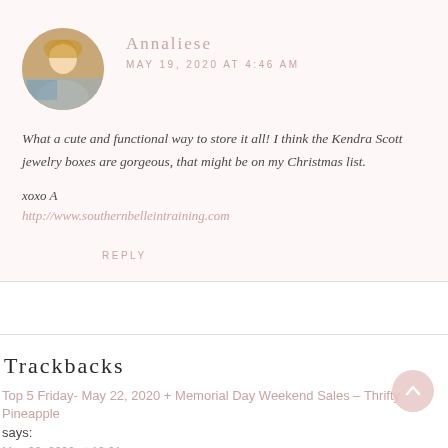[Figure (photo): Circular avatar photo of a young woman with blonde hair outdoors]
Annaliese
MAY 19, 2020 AT 4:46 AM
What a cute and functional way to store it all! I think the Kendra Scott jewelry boxes are gorgeous, that might be on my Christmas list.
xoxo A
http://www.southernbelleintraining.com
REPLY
Trackbacks
Top 5 Friday- May 22, 2020 + Memorial Day Weekend Sales – Thrifty Pineapple says:
May 22, 2020 at 12:01 am